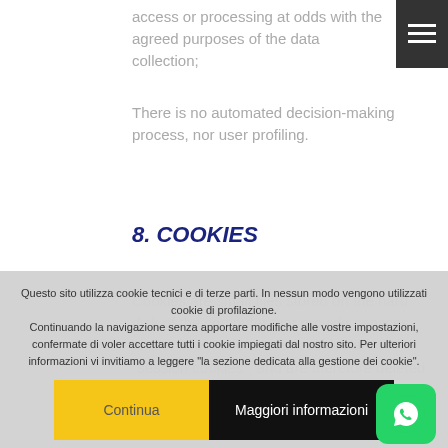access or processing at odds with the agreed purposes of the data collection;
There is no automated decision-making process, nor user profiling.
8. COOKIES
Cookies are small files stored on the hard disk of the computer that provide services and/or information. Most cookies are "session cookies", and are therefore deleted from the hard disk at the end of the session (when
Questo sito utilizza cookie tecnici e di terze parti. In nessun modo vengono utilizzati cookie di profilazione.
Continuando la navigazione senza apportare modifiche alle vostre impostazioni, confermate di voler accettare tutti i cookie impiegati dal nostro sito. Per ulteriori informazioni vi invitiamo a leggere "la sezione dedicata alla gestione dei cookie".